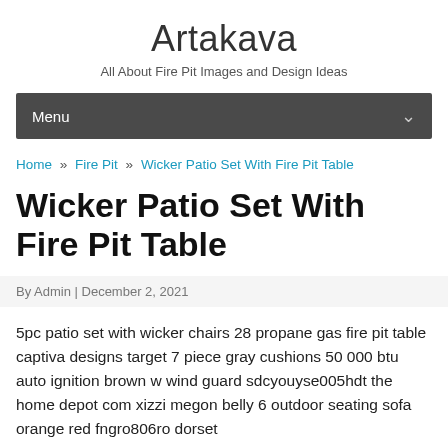Artakava
All About Fire Pit Images and Design Ideas
Menu
Home » Fire Pit » Wicker Patio Set With Fire Pit Table
Wicker Patio Set With Fire Pit Table
By Admin | December 2, 2021
5pc patio set with wicker chairs 28 propane gas fire pit table captiva designs target 7 piece gray cushions 50 000 btu auto ignition brown w wind guard sdcyouyse005hdt the home depot com xizzi megon belly 6 outdoor seating sofa orange red fngro806ro dorset